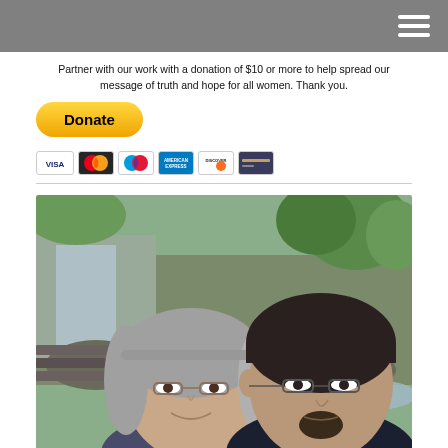Partner with our work with a donation of $10 or more to help spread our message of truth and hope for all women. Thank you.
[Figure (screenshot): Yellow PayPal Donate button with credit card logos (Visa, Mastercard, Maestro, American Express, Discover, credit card icon) shown below]
[Figure (photo): Selfie photo of a woman with gray hair and glasses and a man with dark hair, goatee, and glasses, outdoors in front of a waterfall and rocky scenery with green trees in background]